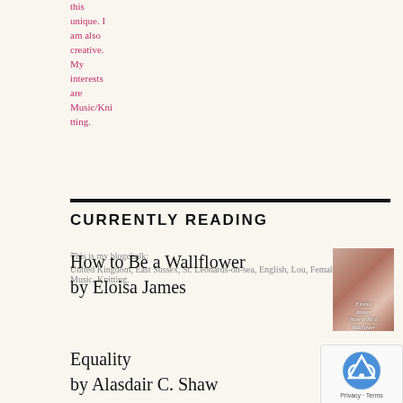this unique. I am also creative. My interests are Music/Knitting.
This is my blogchalk:
United Kingdom, East Sussex, St. Leonards-on-sea, English, Lou, Female, 41-45, Music, Knitting.
CURRENTLY READING
How to Be a Wallflower
by Eloisa James
[Figure (illustration): Book cover for 'How to Be a Wallflower' by Eloisa James]
Equality
by Alasdair C. Shaw
[Figure (other): reCAPTCHA overlay with Privacy - Terms text]